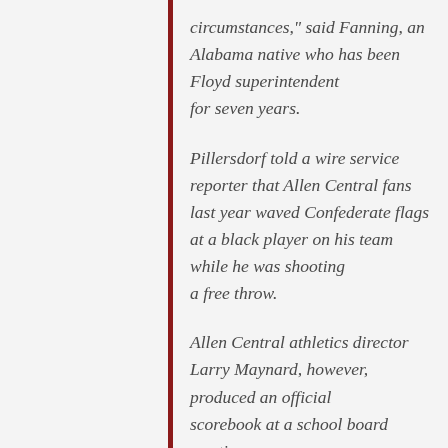circumstances," said Fanning, an Alabama native who has been Floyd superintendent for seven years.
Pillersdorf told a wire service reporter that Allen Central fans last year waved Confederate flags at a black player on his team while he was shooting a free throw.
Allen Central athletics director Larry Maynard, however, produced an official scorebook at a school board meeting